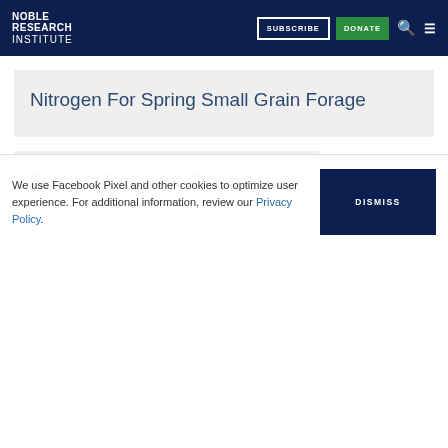Noble Research Institute — SUBSCRIBE DONATE
Nitrogen For Spring Small Grain Forage
Seeding Rates for Crabgrass
We use Facebook Pixel and other cookies to optimize user experience. For additional information, review our Privacy Policy.